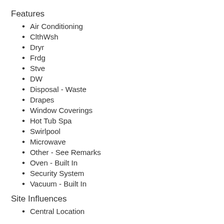Features
Air Conditioning
ClthWsh
Dryr
Frdg
Stve
DW
Disposal - Waste
Drapes
Window Coverings
Hot Tub Spa
Swirlpool
Microwave
Other - See Remarks
Oven - Built In
Security System
Vacuum - Built In
Site Influences
Central Location